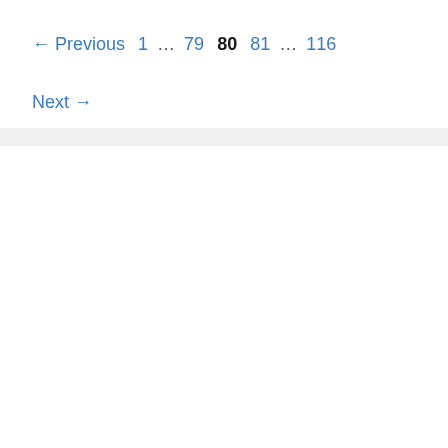← Previous  1  ...  79  80  81  ...  116  Next →